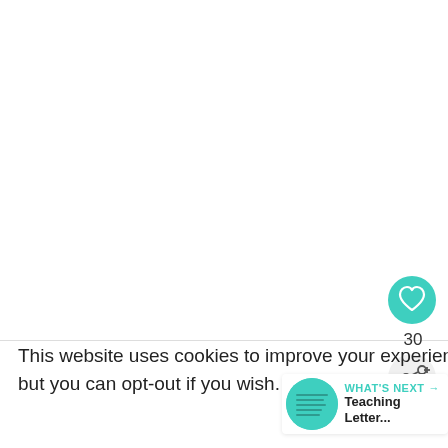[Figure (other): White blank area — top portion of page, content not visible]
This website uses cookies to improve your experience. We'll assume you're ok with this, but you can opt-out if you wish.
More
[Figure (other): Teal circular heart/like button with heart icon, showing 30 likes]
[Figure (other): Share button (circular white button with share icon)]
[Figure (other): WHAT'S NEXT panel: teal circle thumbnail with small text, title 'Teaching Letter...']